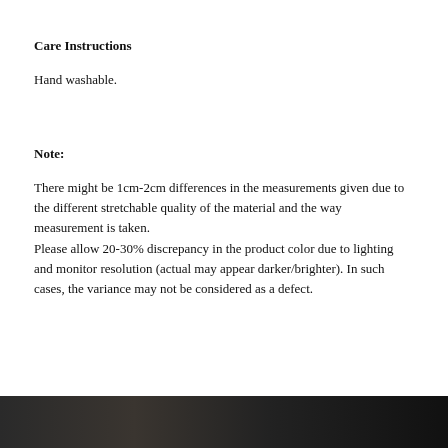Care Instructions
Hand washable.
Note:
There might be 1cm-2cm differences in the measurements given due to the different stretchable quality of the material and the way measurement is taken.
Please allow 20-30% discrepancy in the product color due to lighting and monitor resolution (actual may appear darker/brighter). In such cases, the variance may not be considered as a defect.
[Figure (photo): Dark photograph strip at the bottom of the page, partially visible.]